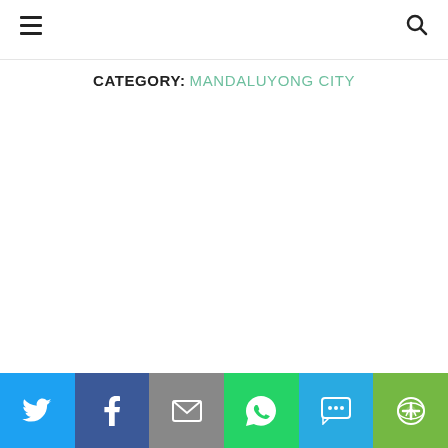≡  [search icon]
CATEGORY: MANDALUYONG CITY
[Figure (other): Social sharing bar with Twitter, Facebook, Email, WhatsApp, SMS, and More buttons]